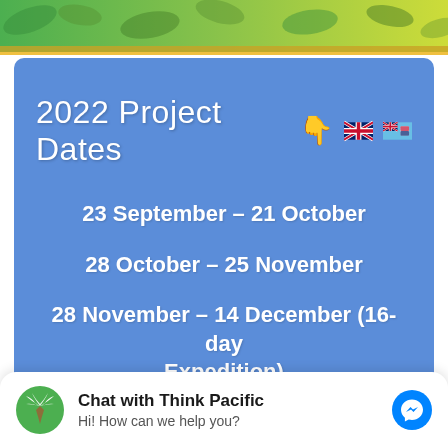[Figure (screenshot): Top decorative green/yellow gradient strip with leaf/foliage pattern]
2022 Project Dates 👇 🇬🇧🇫🇯
23 September – 21 October
28 October – 25 November
28 November – 14 December (16-day Expedition)
Apply Now
Chat with Think Pacific
Hi! How can we help you?